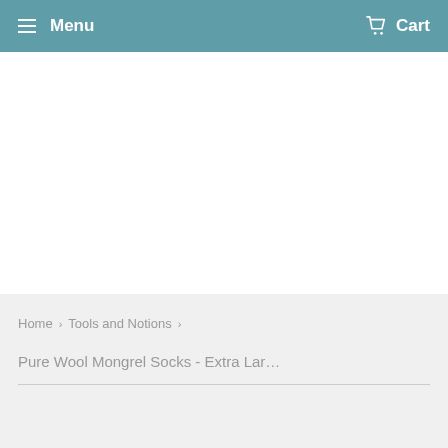Menu  Cart
Home › Tools and Notions ›
Pure Wool Mongrel Socks - Extra Lar...